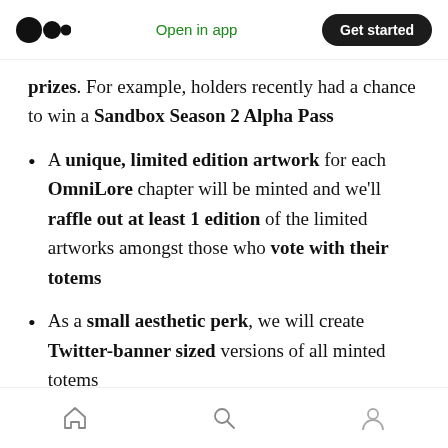Open in app  Get started
prizes. For example, holders recently had a chance to win a Sandbox Season 2 Alpha Pass
A unique, limited edition artwork for each OmniLore chapter will be minted and we'll raffle out at least 1 edition of the limited artworks amongst those who vote with their totems
As a small aesthetic perk, we will create Twitter-banner sized versions of all minted totems